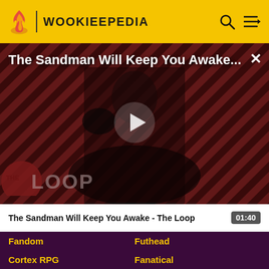WOOKIEEPEDIA
[Figure (screenshot): Video thumbnail showing a man in black clothing with a raven on his arm against a diagonal striped dark red background. The Loop channel logo is visible in the lower left. A play button is overlaid in the center.]
The Sandman Will Keep You Awake...
The Sandman Will Keep You Awake - The Loop   01:40
Fandom
Futhead
Cortex RPG
Fanatical
Muthead